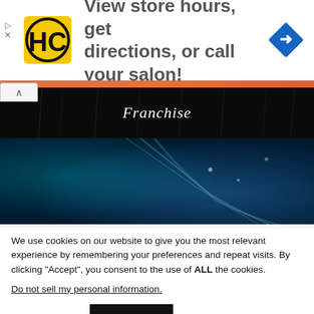[Figure (screenshot): HC hair salon logo — yellow square with black HC letters in circular style]
View store hours, get directions, or call your salon!
[Figure (illustration): Blue navigation/directions diamond-shaped icon]
[Figure (photo): Dark background with rain or dripping water effect with text Franchise]
[Figure (photo): Close-up blue toned photo of hair being styled or treated]
We use cookies on our website to give you the most relevant experience by remembering your preferences and repeat visits. By clicking "Accept", you consent to the use of ALL the cookies.
Do not sell my personal information.
Cookie settings
ACCEPT